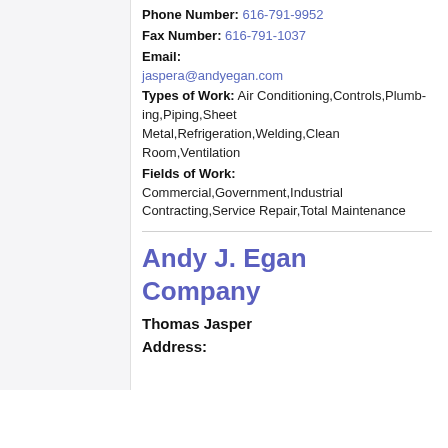Phone Number: 616-791-9952
Fax Number: 616-791-1037
Email: jaspera@andyegan.com
Types of Work: Air Conditioning,Controls,Plumbing,Piping,Sheet Metal,Refrigeration,Welding,Clean Room,Ventilation
Fields of Work: Commercial,Government,Industrial,Contracting,Service Repair,Total Maintenance
Andy J. Egan Company
Thomas Jasper
Address: